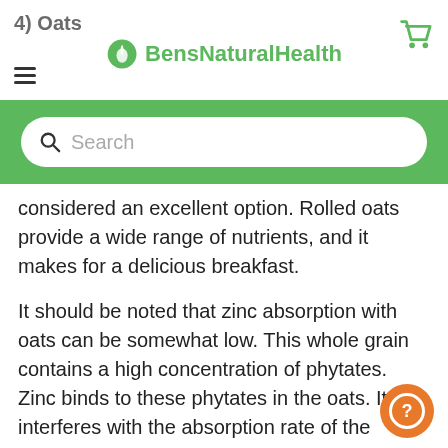4) Oats — BensNaturalHealth
considered an excellent option. Rolled oats provide a wide range of nutrients, and it makes for a delicious breakfast.
It should be noted that zinc absorption with oats can be somewhat low. This whole grain contains a high concentration of phytates. Zinc binds to these phytates in the oats. It interferes with the absorption rate of the mineral. Still, the body still gets some of the zinc.
Oats not only provide zinc but is also rich in many other nutrients. Fiber is an important nutrient found